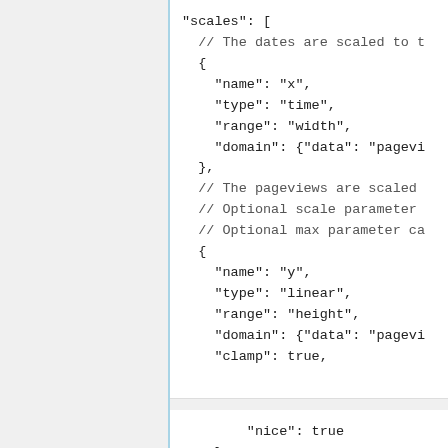"scales": [
  // The dates are scaled to f
  {
    "name": "x",
    "type": "time",
    "range": "width",
    "domain": {"data": "pagevi
  },
  // The pageviews are scaled
  // Optional scale parameter
  // Optional max parameter ca
  {
    "name": "y",
    "type": "linear",
    "range": "height",
    "domain": {"data": "pagevi
    "clamp": true,
"nice": true
    }
  ],